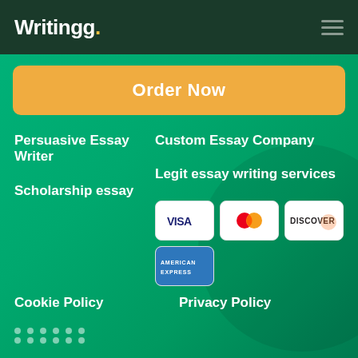Writingg.
Order Now
Persuasive Essay Writer
Custom Essay Company
Scholarship essay
Legit essay writing services
[Figure (other): Payment method logos: VISA, Mastercard, Discover, American Express]
Cookie Policy
Privacy Policy